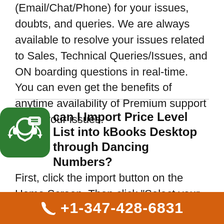(Email/Chat/Phone) for your issues, doubts, and queries. We are always available to resolve your issues related to Sales, Technical Queries/Issues, and ON boarding questions in real-time. You can even get the benefits of anytime availability of Premium support for all your issues.
can I Import Price Level List into kBooks Desktop through Dancing Numbers?
First, click the import button on the Home Screen. Then click "Select your file" from your system. Next, set up the mapping of the file column related to the
+1-347-428-6831